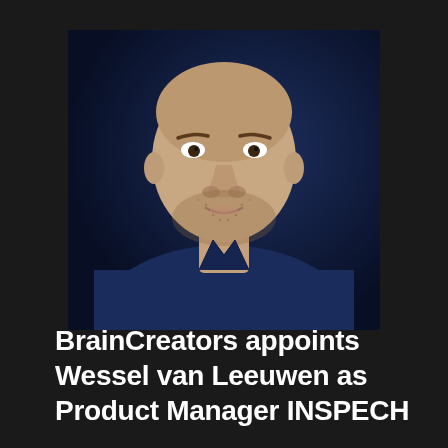[Figure (photo): Portrait photo of a bald man with stubble, smiling slightly, wearing a dark navy blue shirt, photographed against a dark navy blue background.]
BrainCreators appoints Wessel van Leeuwen as Product Manager INSPECH